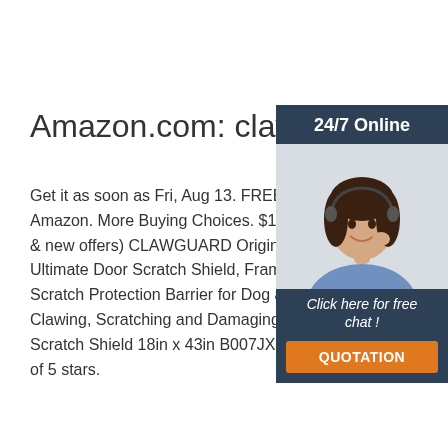Amazon.com: clawguard
Get it as soon as Fri, Aug 13. FREE Shipp Amazon. More Buying Choices. $19.86 (1 & new offers) CLAWGUARD Original The Ultimate Door Scratch Shield, Frame & Wa Scratch Protection Barrier for Dog and Ca Clawing, Scratching and Damaging Doors Scratch Shield 18in x 43in B007JXEVU6. of 5 stars.
[Figure (photo): Customer service agent woman with headset smiling, with 24/7 Online header, Click here for free chat text, and QUOTATION orange button on dark blue background panel]
Get Price